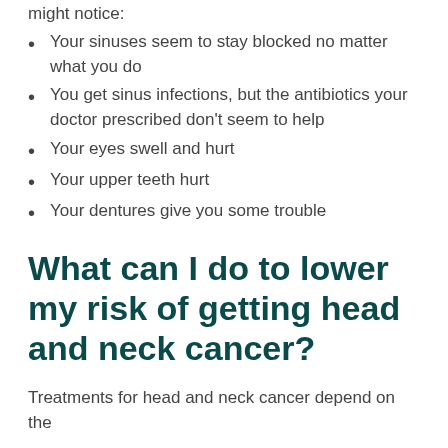might notice:
Your sinuses seem to stay blocked no matter what you do
You get sinus infections, but the antibiotics your doctor prescribed don't seem to help
Your eyes swell and hurt
Your upper teeth hurt
Your dentures give you some trouble
What can I do to lower my risk of getting head and neck cancer?
Treatments for head and neck cancer depend on the